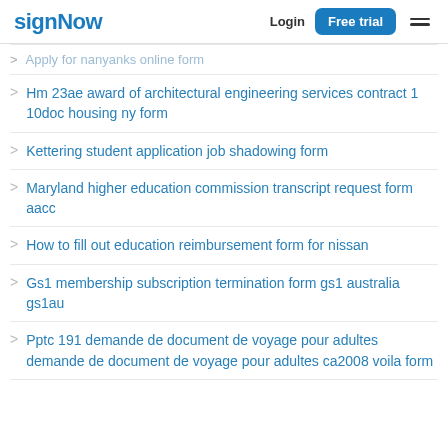signNow | Login | Free trial
Apply for nanyanks online form (truncated/partial)
Hm 23ae award of architectural engineering services contract 1 10doc housing ny form
Kettering student application job shadowing form
Maryland higher education commission transcript request form aacc
How to fill out education reimbursement form for nissan
Gs1 membership subscription termination form gs1 australia gs1au
Pptc 191 demande de document de voyage pour adultes demande de document de voyage pour adultes ca2008 voila form